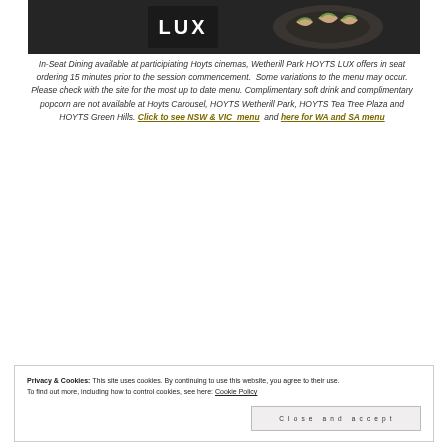[Figure (photo): Dark background image showing HOYTS LUX logo and food (tacos on a plate)]
In-Seat Dining available at participiating Hoyts cinemas, Wetherill Park HOYTS LUX offers in seat ordering 15 minutes prior to the session commencement.  Some variations to the menu may occur. Please check with the site for the most up to date menu. Complimentary soft drink and complimentary popcorn are not available at Hoyts Carousel, HOYTS Wetherill Park, HOYTS Tea Tree Plaza and HOYTS Green Hills. Click to see NSW & VIC  menu  and here for WA and SA menu
Privacy & Cookies: This site uses cookies. By continuing to use this website, you agree to their use. To find out more, including how to control cookies, see here: Cookie Policy
Close and accept